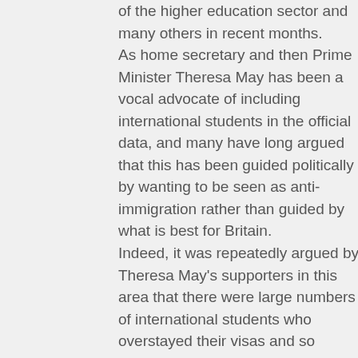of the higher education sector and many others in recent months. As home secretary and then Prime Minister Theresa May has been a vocal advocate of including international students in the official data, and many have long argued that this has been guided politically by wanting to be seen as anti-immigration rather than guided by what is best for Britain. Indeed, it was repeatedly argued by Theresa May's supporters in this area that there were large numbers of international students who overstayed their visas and so contributed to the breach of their immigration target. But the evidence has